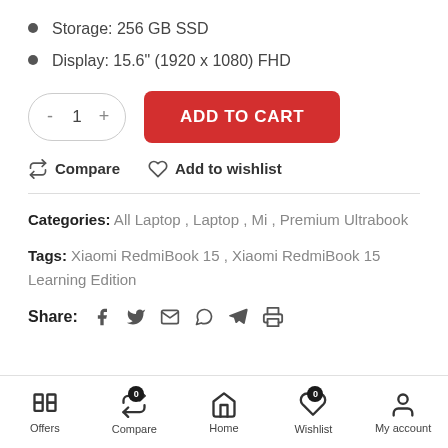Storage: 256 GB SSD
Display: 15.6" (1920 x 1080) FHD
- 1 + ADD TO CART
Compare   Add to wishlist
Categories: All Laptop, Laptop, Mi, Premium Ultrabook
Tags: Xiaomi RedmiBook 15, Xiaomi RedmiBook 15 Learning Edition
Share: (social icons)
Offers   Compare 0   Home   Wishlist 0   My account